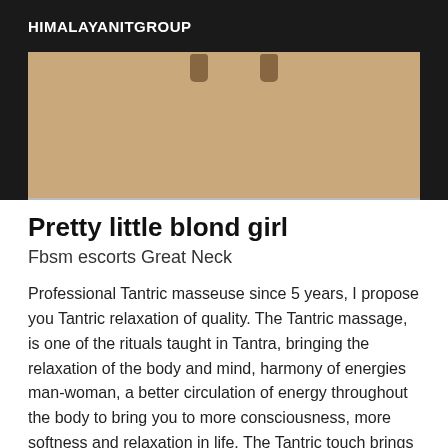HIMALAYANITGROUP
[Figure (photo): Partial photo showing a tan/beige background with what appears to be feet or legs at the top edge]
Pretty little blond girl
Fbsm escorts Great Neck
Professional Tantric masseuse since 5 years, I propose you Tantric relaxation of quality. The Tantric massage, is one of the rituals taught in Tantra, bringing the relaxation of the body and mind, harmony of energies man-woman, a better circulation of energy throughout the body to bring you to more consciousness, more softness and relaxation in life. The Tantric touch brings you in a dimension of deeper relaxation. The partners, by connecting to each other, give each other vital energy. Their energies give life and renew themselves. There is no loss, the energy increases in contact with the body of